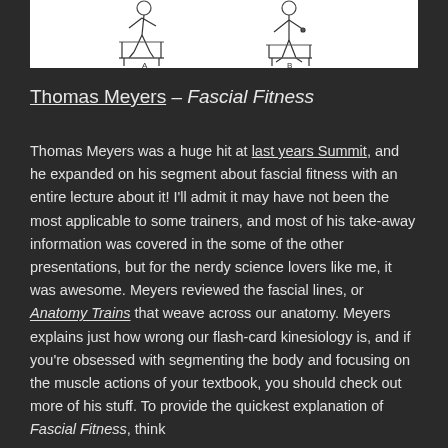[Figure (illustration): Line drawing illustration showing two side-view figures (A and B) demonstrating body posture or movement positions, with skeletal/structural lines shown]
Thomas Meyers – Fascial Fitness
Thomas Meyers was a huge hit at last years Summit, and he expanded on his segment about fascial fitness with an entire lecture about it!  I'll admit it may have not been the most applicable to some trainers, and most of his take-away information was covered in the some of the other presentations, but for the nerdy science lovers like me, it was awesome.  Meyers reviewed the fascial lines, or Anatomy Trains that weave across our anatomy. Meyers explains just how wrong our flash-card kinesiology is, and if you're obsessed with segmenting the body and focusing on the muscle actions of your textbook, you should check out more of his stuff.  To provide the quickest explanation of Fascial Fitness, think